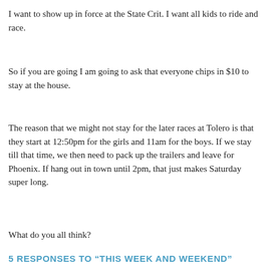I want to show up in force at the State Crit. I want all kids to ride and race.
So if you are going I am going to ask that everyone chips in $10 to stay at the house.
The reason that we might not stay for the later races at Tolero is that they start at 12:50pm for the girls and 11am for the boys. If we stay till that time, we then need to pack up the trailers and leave for Phoenix. If hang out in town until 2pm, that just makes Saturday super long.
What do you all think?
5 RESPONSES TO “THIS WEEK AND WEEKEND”